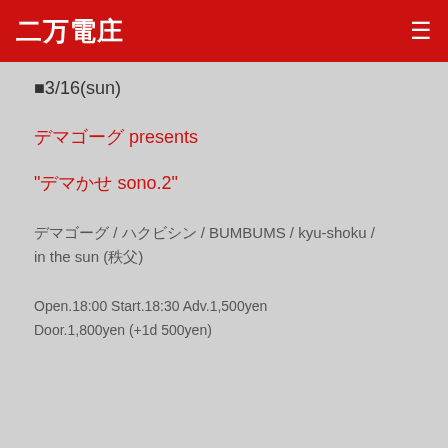二万電庄
■3/16(sun)
デマゴーグ presents
“デマかせ sono.2”
デマゴーグ / ハクビシン / BUMBUMS / kyu-shoku / in the sun (秩父)
Open.18:00 Start.18:30 Adv.1,500yen
Door.1,800yen (+1d 500yen)